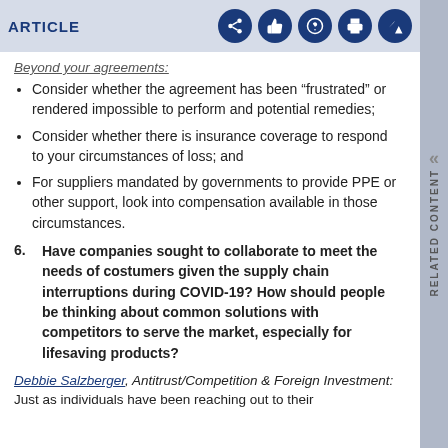ARTICLE
Beyond your agreements:
Consider whether the agreement has been "frustrated" or rendered impossible to perform and potential remedies;
Consider whether there is insurance coverage to respond to your circumstances of loss; and
For suppliers mandated by governments to provide PPE or other support, look into compensation available in those circumstances.
6. Have companies sought to collaborate to meet the needs of costumers given the supply chain interruptions during COVID-19? How should people be thinking about common solutions with competitors to serve the market, especially for lifesaving products?
Debbie Salzberger, Antitrust/Competition & Foreign Investment: Just as individuals have been reaching out to their [continues]